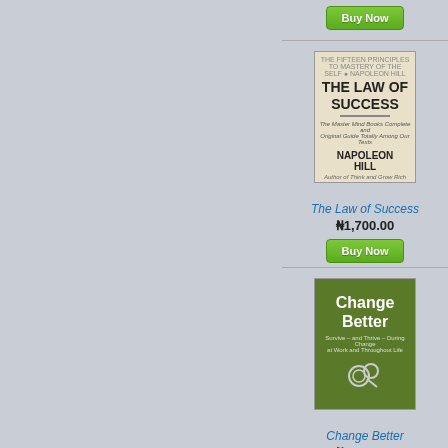[Figure (other): Buy Now green button at top]
[Figure (photo): Book cover: The Law of Success by Napoleon Hill]
The Law of Success
₦1,700.00
[Figure (other): Buy Now green button]
[Figure (photo): Book cover: Change Better]
Change Better
₦1,150.00
[Figure (other): Buy Now green button]
[Figure (photo): Book cover: Rudyard Kipling book (partially visible)]